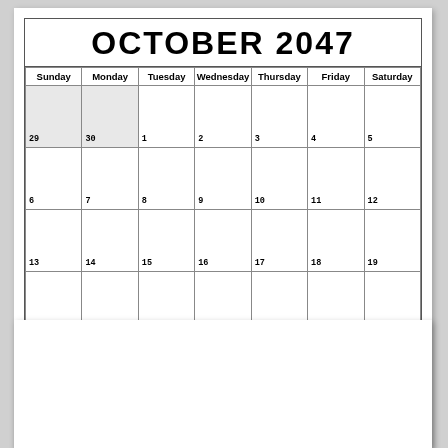OCTOBER 2047
| Sunday | Monday | Tuesday | Wednesday | Thursday | Friday | Saturday |
| --- | --- | --- | --- | --- | --- | --- |
| 29 | 30 | 1 | 2 | 3 | 4 | 5 |
| 6 | 7 | 8 | 9 | 10 | 11 | 12 |
| 13 | 14 | 15 | 16 | 17 | 18 | 19 |
| 20 | 21 | 22 | 23 | 24 | 25 | 26 |
| 27 | 28 | 29 | 30 | 31 | 1 | 2 |
Free Calendar Templates Dreamcalendars.com
October 2047 Calendar Printable Template